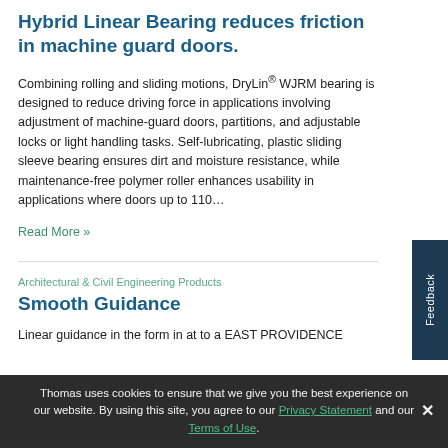Hybrid Linear Bearing reduces friction in machine guard doors.
Combining rolling and sliding motions, DryLin® WJRM bearing is designed to reduce driving force in applications involving adjustment of machine-guard doors, partitions, and adjustable locks or light handling tasks. Self-lubricating, plastic sliding sleeve bearing ensures dirt and moisture resistance, while maintenance-free polymer roller enhances usability in applications where doors up to 110…
Read More »
Architectural & Civil Engineering Products
Smooth Guidance
Linear guidance in the form in at to a EAST PROVIDENCE
Thomas uses cookies to ensure that we give you the best experience on our website. By using this site, you agree to our Privacy Statement and our Terms of Use.